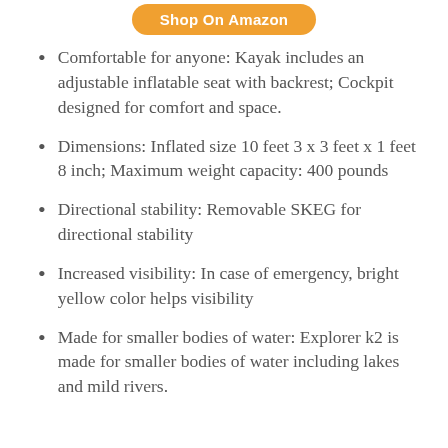Shop On Amazon
Comfortable for anyone: Kayak includes an adjustable inflatable seat with backrest; Cockpit designed for comfort and space.
Dimensions: Inflated size 10 feet 3 x 3 feet x 1 feet 8 inch; Maximum weight capacity: 400 pounds
Directional stability: Removable SKEG for directional stability
Increased visibility: In case of emergency, bright yellow color helps visibility
Made for smaller bodies of water: Explorer k2 is made for smaller bodies of water including lakes and mild rivers.